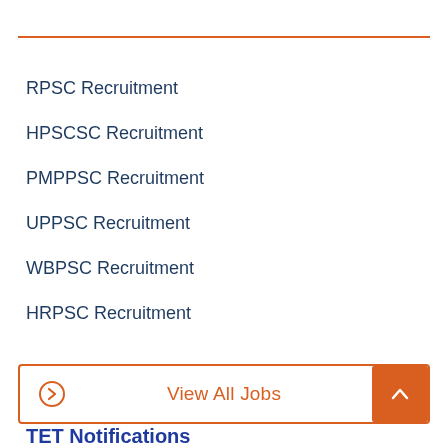RPSC Recruitment
HPSCSC Recruitment
PMPPSC Recruitment
UPPSC Recruitment
WBPSC Recruitment
HRPSC Recruitment
View All Jobs
TET Notifications